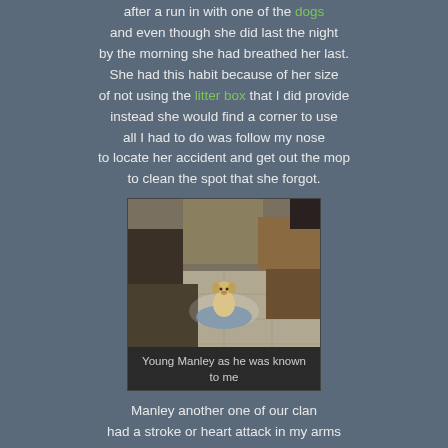after a run in with one of the dogs and even though she did last the night by the morning she had breathed her last. She had this habit because of her size of not using the litter box that I did provide instead she would find a corner to use all I had to do was follow my nose to locate her accident and get out the mop to clean the spot that she forgot.
[Figure (photo): A small puppy sitting on a mat in a tiled room with furniture and boxes in the background.]
Young Manley as he was known to me
Manley another one of our clan had a stroke or heart attack in my arms and passed peacefully away.